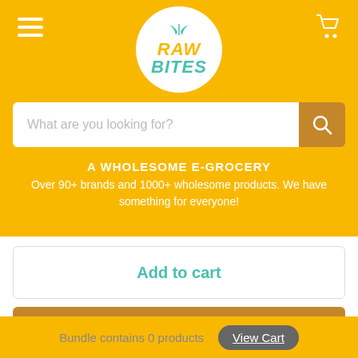[Figure (logo): Raw Bites logo — white circle with green leaf sprigs on top, 'RAW' in orange and 'BITES' in teal, both italic bold]
What are you looking for?
A WHOLESOME E-GROCERY
Over 90+ brands and 1000+ wholesome products. We have something for everyone!
Add to cart
Buy it now
Bundle contains 0 products
View Cart